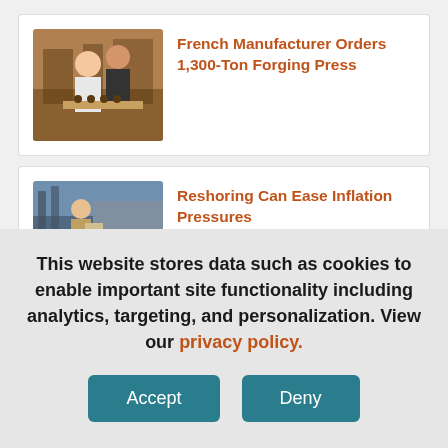[Figure (photo): Two people working at a shop counter with small items on the counter]
French Manufacturer Orders 1,300-Ton Forging Press
[Figure (photo): Person working in a manufacturing or warehouse setting]
Reshoring Can Ease Inflation Pressures
This website stores data such as cookies to enable important site functionality including analytics, targeting, and personalization. View our privacy policy.
Accept
Deny